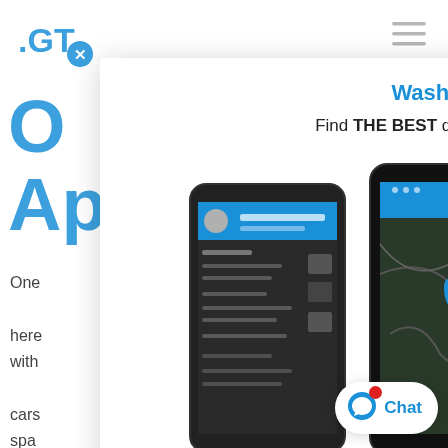[Figure (logo): .GT logo with blue X circle icon, top left]
[Figure (infographic): Hamburger menu icon, top right]
O...
Ap...
One... here with... cars spa... nds, keep... the help... car was... ence with... go thro... and get your car cleaned. Wash.GT is a one-s... all your car detailing needs.
[Figure (screenshot): Three smartphone mockups showing Wash.GT app screens: left shows a menu/profile screen, center shows a map with location pins, right shows another menu screen. All phones have blue headers.]
Wash.GT Directory
Find THE BEST deals and local professionals.
LOVE YOUR CAR AGAIN
[Figure (infographic): WhatsApp-style chat button with blue icon and Chat label, bottom right]